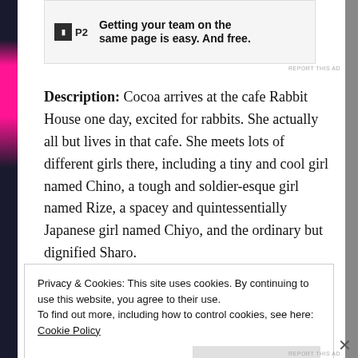[Figure (other): P2 advertisement banner: logo with letter P2 in dark box, tagline 'Getting your team on the same page is easy. And free.']
REPORT THIS AD
Description: Cocoa arrives at the cafe Rabbit House one day, excited for rabbits. She actually all but lives in that cafe. She meets lots of different girls there, including a tiny and cool girl named Chino, a tough and soldier-esque girl named Rize, a spacey and quintessentially Japanese girl named Chiyo, and the ordinary but dignified Sharo.
Privacy & Cookies: This site uses cookies. By continuing to use this website, you agree to their use.
To find out more, including how to control cookies, see here: Cookie Policy
Close and accept
REPORT THIS AD